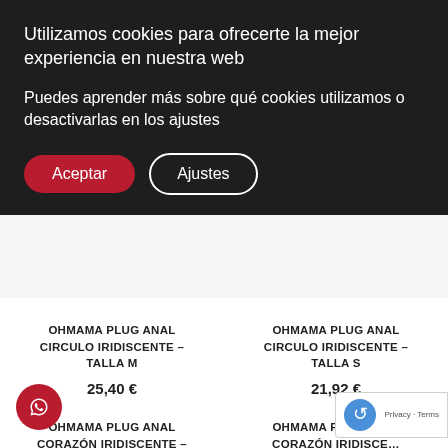Utilizamos cookies para ofrecerte la mejor experiencia en nuestra web
Puedes aprender más sobre qué cookies utilizamos o desactivarlas en los ajustes
Aceptar
Ajustes
OHMAMA PLUG ANAL CIRCULO IRIDISCENTE – TALLA M
25,40 €
OHMAMA PLUG ANAL CIRCULO IRIDISCENTE – TALLA S
21,92 €
OHMAMA PLUG ANAL CORAZÓN IRIDISCENTE – TALLA L
28,87 €
OHMAMA PLUG ANAL CORAZÓN IRIDISCENTE – TALLA M
26,56 €